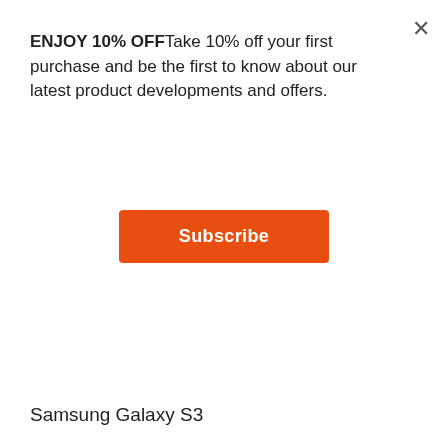ENJOY 10% OFFFTake 10% off your first purchase and be the first to know about our latest product developments and offers.
Subscribe
Samsung Galaxy S3
Samsung Galaxy Note3
Samsung Galaxy Note2
HTC One M7
LG Nexus 4
LG Nexus 5
Motorola Nexus 6